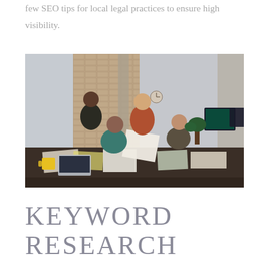few SEO tips for local legal practices to ensure high visibility.
[Figure (photo): Four people gathered around a table in a modern office/loft space with brick walls and large windows. They are reviewing documents together, with laptops, papers, and coffee cups on the table. Computer monitors are visible in the background.]
KEYWORD RESEARCH